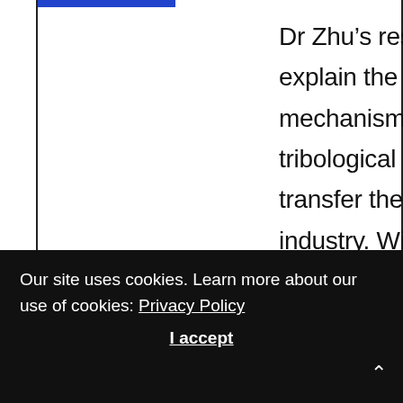Dr Zhu's research aims to explain the fundamental mechanisms behind a machine's tribological behaviour and transfer the knowledge to the industry. With her research proposal, she intends to develop lightweight metal matrix composites and
Our site uses cookies. Learn more about our use of cookies: Privacy Policy
I accept